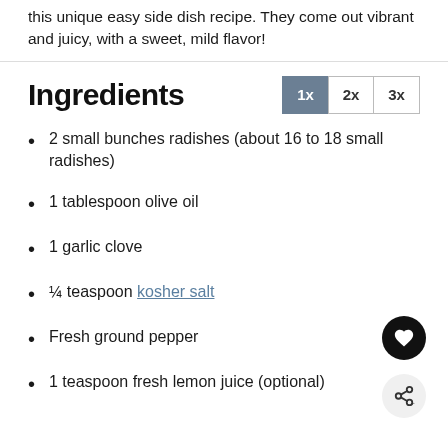this unique easy side dish recipe. They come out vibrant and juicy, with a sweet, mild flavor!
Ingredients
2 small bunches radishes (about 16 to 18 small radishes)
1 tablespoon olive oil
1 garlic clove
¼ teaspoon kosher salt
Fresh ground pepper
1 teaspoon fresh lemon juice (optional)